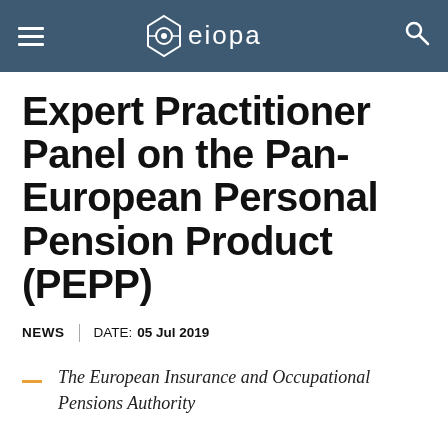EIOPA — European Insurance and Occupational Pensions Authority
Expert Practitioner Panel on the Pan-European Personal Pension Product (PEPP)
NEWS  |  DATE:  05 Jul 2019
The European Insurance and Occupational Pensions Authority